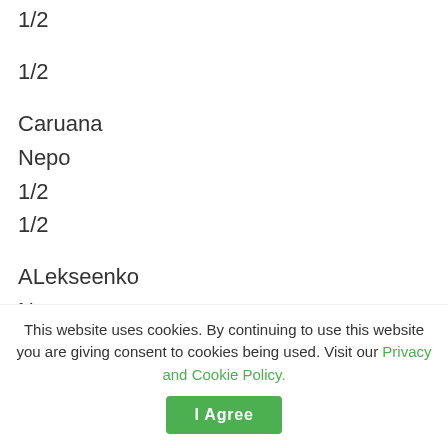1/2
1/2
Caruana
Nepo
1/2
1/2
ALekseenko
Nepo
0
1
Grischuk
Wang
1/2
This website uses cookies. By continuing to use this website you are giving consent to cookies being used. Visit our Privacy and Cookie Policy.